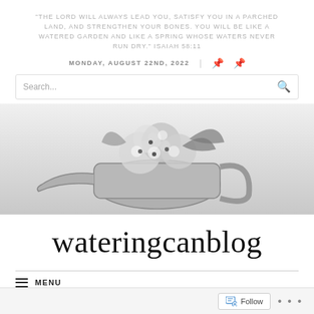"THE LORD WILL ALWAYS LEAD YOU, SATISFY YOU IN A PARCHED LAND, AND STRENGTHEN YOUR BONES. YOU WILL BE LIKE A WATERED GARDEN AND LIKE A SPRING WHOSE WATERS NEVER RUN DRY." ISAIAH 58:11
MONDAY, AUGUST 22ND, 2022
[Figure (photo): Black and white photo of hydrangea flowers in a watering can]
wateringcanblog
MENU
Follow